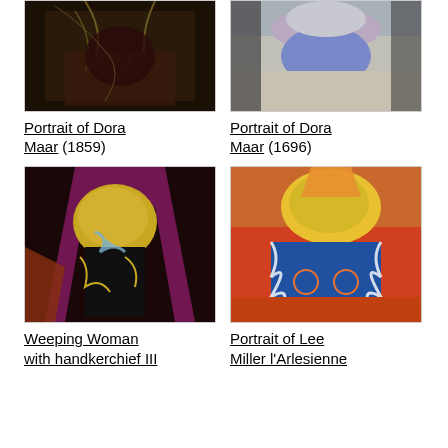[Figure (photo): Painting: Portrait of Dora Maar, dark toned abstract figure]
Portrait of Dora Maar (1859)
[Figure (photo): Painting: Portrait of Dora Maar, cubist figure with pink, blue and grey tones]
Portrait of Dora Maar (1696)
[Figure (photo): Painting: Weeping Woman with handkerchief III, cubist figure biting handkerchief in yellow, purple and dark tones]
Weeping Woman with handkerchief III
[Figure (photo): Painting: Portrait of Lee Miller l'Arlesienne, cubist seated figure in orange, yellow, blue and brown tones]
Portrait of Lee Miller l'Arlesienne